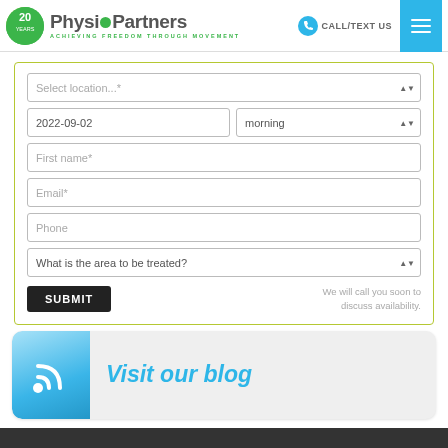PhysioPartners — ACHIEVING FREEDOM THROUGH MOVEMENT — CALL/TEXT US
[Figure (screenshot): Appointment booking form with fields: Select location, date (2022-09-02), time (morning), First name, Email, Phone, What is the area to be treated?, SUBMIT button, and note 'We will call you soon to discuss availability.']
[Figure (illustration): Visit our blog banner with RSS feed icon and light blue text on grey rounded rectangle background]